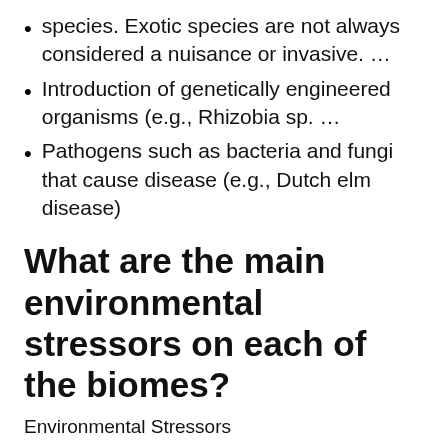species. Exotic species are not always considered a nuisance or invasive. …
Introduction of genetically engineered organisms (e.g., Rhizobia sp. …
Pathogens such as bacteria and fungi that cause disease (e.g., Dutch elm disease)
What are the main environmental stressors on each of the biomes?
Environmental Stressors
competition, predation, disease, and other interactions among organisms.
constraints related to climate or to